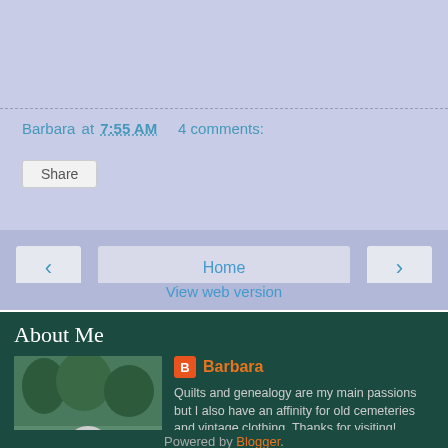Barbara at 7:55 AM   4 comments:
Share
< Home >
View web version
About Me
[Figure (photo): Profile photo of Barbara, a woman with short gray hair wearing a blue top, outdoors near water with trees in background]
Barbara
Quilts and genealogy are my main passions but I also have an affinity for old cemeteries and vintage clothing. Thanks for visiting!
View my complete profile
Powered by Blogger.